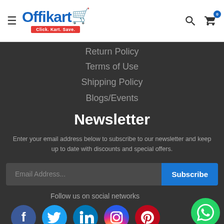[Figure (logo): Offikart logo with shopping cart icon and tagline 'Click. Kart. Save.' in red banner]
Return Policy
Terms of Use
Shipping Policy
Blogs/Events
Newsletter
Enter your email address below to subscribe to our newsletter and keep up to date with discounts and special offers.
Follow us on social networks
[Figure (infographic): Social media icons: Facebook, Twitter, LinkedIn, Instagram, Pinterest. WhatsApp chat button on right.]